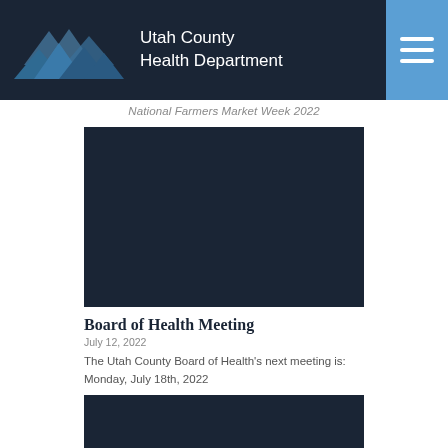Utah County Health Department
National Farmers Market Week 2022
[Figure (photo): Dark thumbnail image for Board of Health Meeting article]
Board of Health Meeting
July 12, 2022
The Utah County Board of Health's next meeting is: Monday, July 18th, 2022
[Figure (photo): Dark thumbnail image for a second article, partially visible]